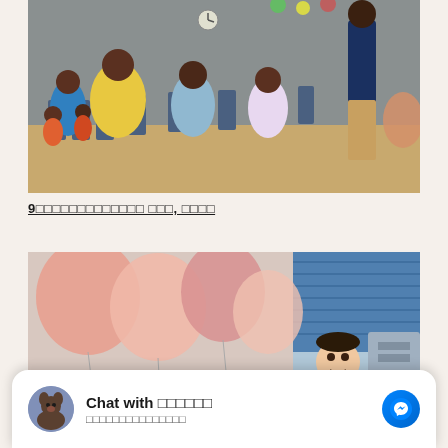[Figure (photo): Indoor party or event scene with children and adults seated in chairs watching a person standing at the front of the room. Colorful balloons visible in the background. Warm lighting with wooden floor.]
9□□□□□□□□□□□□□ □□□, □□□□
[Figure (photo): Photo showing pink and peach balloons in the foreground with a woman smiling in the background, next to a blue window blind or curtain.]
Chat with □□□□□□  □□□□□□□□□□□□□□□